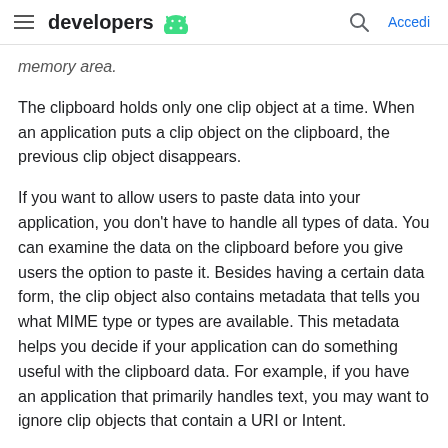developers [Android logo] | Search | Accedi
memory area.
The clipboard holds only one clip object at a time. When an application puts a clip object on the clipboard, the previous clip object disappears.
If you want to allow users to paste data into your application, you don't have to handle all types of data. You can examine the data on the clipboard before you give users the option to paste it. Besides having a certain data form, the clip object also contains metadata that tells you what MIME type or types are available. This metadata helps you decide if your application can do something useful with the clipboard data. For example, if you have an application that primarily handles text, you may want to ignore clip objects that contain a URI or Intent.
You may also want to allow users to paste text regardless